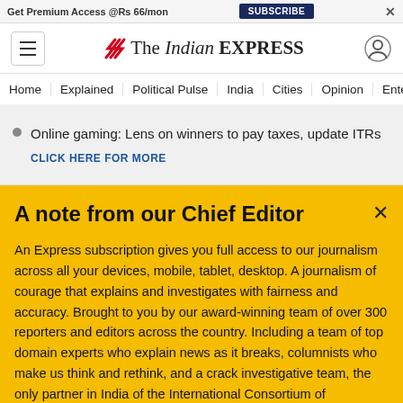Get Premium Access @Rs 66/mon  SUBSCRIBE  ×
The Indian EXPRESS
Home  Explained  Political Pulse  India  Cities  Opinion  Entertainment
Online gaming: Lens on winners to pay taxes, update ITRs
CLICK HERE FOR MORE
A note from our Chief Editor
An Express subscription gives you full access to our journalism across all your devices, mobile, tablet, desktop. A journalism of courage that explains and investigates with fairness and accuracy. Brought to you by our award-winning team of over 300 reporters and editors across the country. Including a team of top domain experts who explain news as it breaks, columnists who make us think and rethink, and a crack investigative team, the only partner in India of the International Consortium of Investigative Journalists. Journalism
Buy Now →